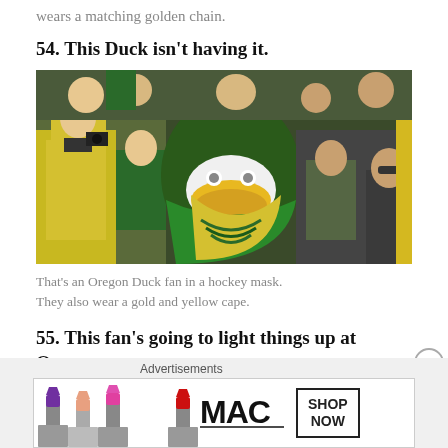wears a matching golden chain.
54. This Duck isn't having it.
[Figure (photo): Person dressed as Oregon Duck fan wearing a duck bill hockey mask with green duck costume, green and yellow cape, and green bead necklaces, surrounded by fans in green and yellow at a sports event.]
That's an Oregon Duck fan in a hockey mask. They also wear a gold and yellow cape.
55. This fan's going to light things up at Oregon.
[Figure (infographic): Advertisement banner for MAC cosmetics showing lipsticks and SHOP NOW button.]